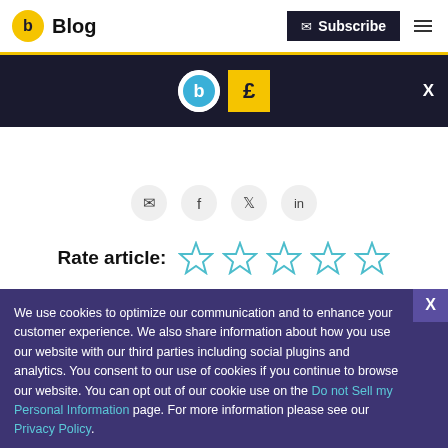Blog | Subscribe
[Figure (screenshot): Dark navigation bar with circular 'b' logo and a yellow pound-sign box, with X close button]
[Figure (infographic): Social sharing icons row: email, facebook, twitter, linkedin]
Rate article:
[Figure (infographic): Five empty star rating icons in teal outline]
We use cookies to optimize our communication and to enhance your customer experience. We also share information about how you use our website with our third parties including social plugins and analytics. You consent to our use of cookies if you continue to browse our website. You can opt out of our cookie use on the Do not Sell my Personal Information page. For more information please see our Privacy Policy.